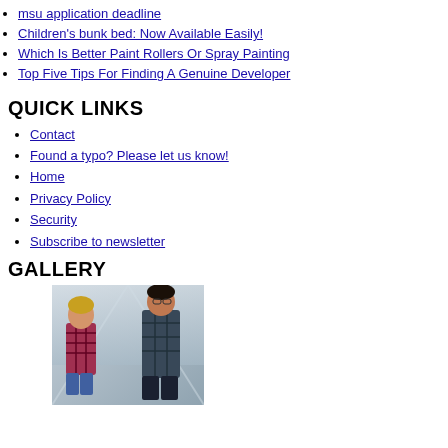msu application deadline
Children's bunk bed: Now Available Easily!
Which Is Better Paint Rollers Or Spray Painting
Top Five Tips For Finding A Genuine Developer
QUICK LINKS
Contact
Found a typo? Please let us know!
Home
Privacy Policy
Security
Subscribe to newsletter
GALLERY
[Figure (photo): Two people (a woman and a man) posing together, the woman leaning on the man's back, both in casual clothing, in a bright indoor setting.]